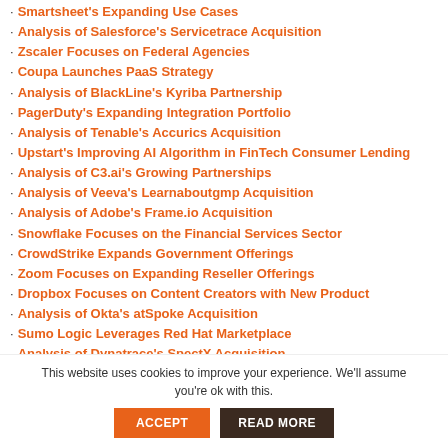Smartsheet's Expanding Use Cases
Analysis of Salesforce's Servicetrace Acquisition
Zscaler Focuses on Federal Agencies
Coupa Launches PaaS Strategy
Analysis of BlackLine's Kyriba Partnership
PagerDuty's Expanding Integration Portfolio
Analysis of Tenable's Accurics Acquisition
Upstart's Improving AI Algorithm in FinTech Consumer Lending
Analysis of C3.ai's Growing Partnerships
Analysis of Veeva's Learnaboutgmp Acquisition
Analysis of Adobe's Frame.io Acquisition
Snowflake Focuses on the Financial Services Sector
CrowdStrike Expands Government Offerings
Zoom Focuses on Expanding Reseller Offerings
Dropbox Focuses on Content Creators with New Product
Analysis of Okta's atSpoke Acquisition
Sumo Logic Leverages Red Hat Marketplace
Analysis of Dynatrace's SpectX Acquisition
This website uses cookies to improve your experience. We'll assume you're ok with this.